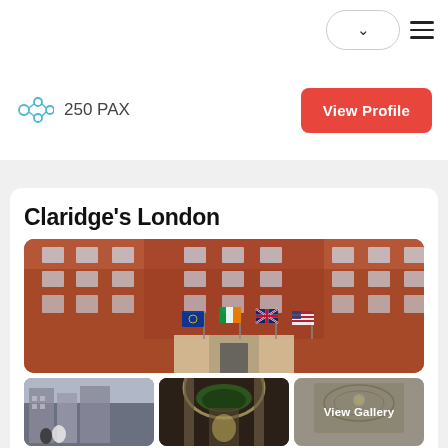Navigation bar with dropdown pill and hamburger menu
250 PAX
View Profile
Claridge's London
[Figure (photo): Exterior facade of Claridge's London hotel, a grand red-brick Victorian building with multiple flags flying outside, including Union Jack, EU, American, and Irish flags]
[Figure (photo): Street view photo of guests outside Claridge's London]
[Figure (photo): Interior lobby of Claridge's London decorated with greenery and floral arch]
[Figure (photo): Interior ceiling detail of Claridge's London with ornate molding and lighting, overlaid with 'View Gallery' text]